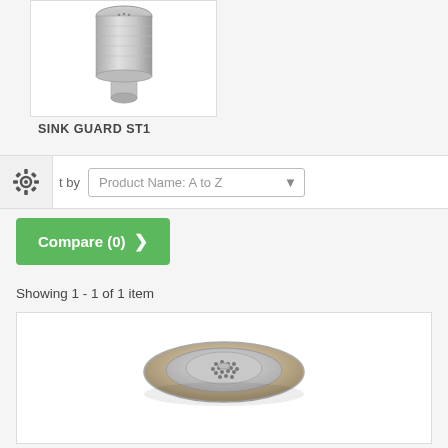[Figure (photo): Stainless steel cylindrical sink strainer/drain filter product photo on white background]
SINK GUARD ST1
Sort by  Product Name: A to Z
Compare (0)
Showing 1 - 1 of 1 item
[Figure (photo): Stainless steel sink drain strainer basket with perforated top, large flat-rim style, viewed from above at slight angle]